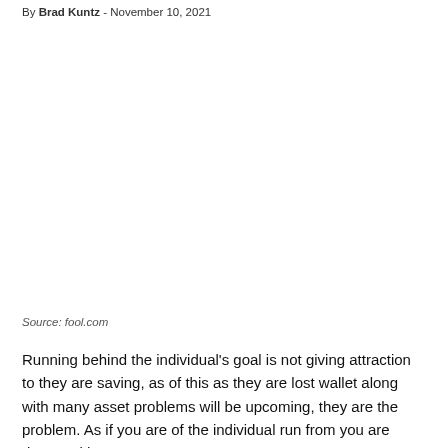By Brad Kuntz - November 10, 2021
[Figure (photo): Image placeholder area, white/blank space from a photo or illustration related to the article]
Source: fool.com
Running behind the individual's goal is not giving attraction to they are saving, as of this as they are lost wallet along with many asset problems will be upcoming, they are the problem. As if you are of the individual run from you are dream without